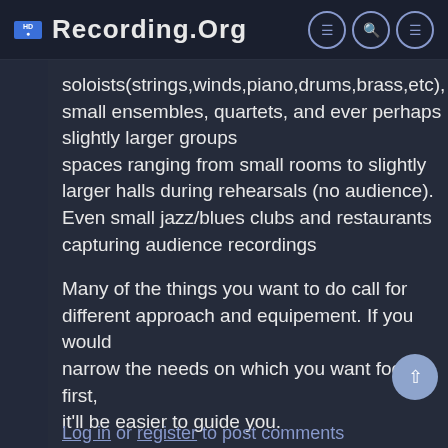Recording.org
soloists(strings,winds,piano,drums,brass,etc), small ensembles, quartets, and ever perhaps slightly larger groups
spaces ranging from small rooms to slightly larger halls during rehearsals (no audience). Even small jazz/blues clubs and restaurants capturing audience recordings
Many of the things you want to do call for different approach and equipement. If you would narrow the needs on which you want focus first, it'll be easier to guide you.
Log in or register to post comments